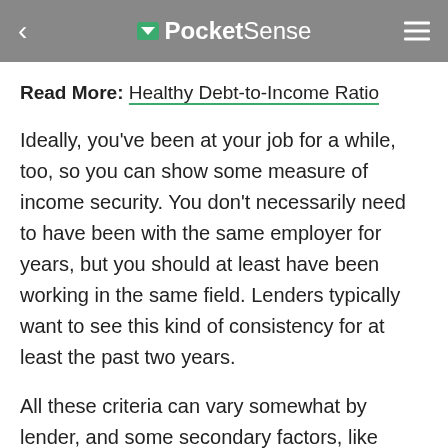PocketSense
Read More: Healthy Debt-to-Income Ratio
Ideally, you've been at your job for a while, too, so you can show some measure of income security. You don't necessarily need to have been with the same employer for years, but you should at least have been working in the same field. Lenders typically want to see this kind of consistency for at least the past two years.
All these criteria can vary somewhat by lender, and some secondary factors, like